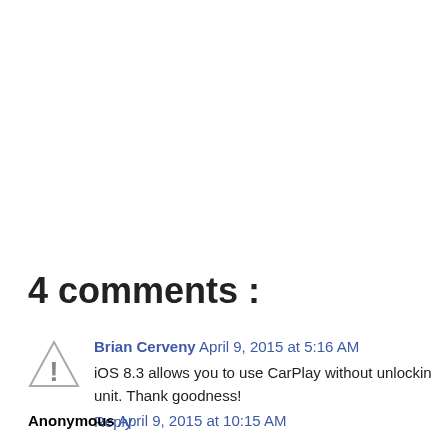4 comments :
Brian Cerveny April 9, 2015 at 5:16 AM
iOS 8.3 allows you to use CarPlay without unlockin unit. Thank goodness!
Reply
Anonymous April 9, 2015 at 10:15 AM